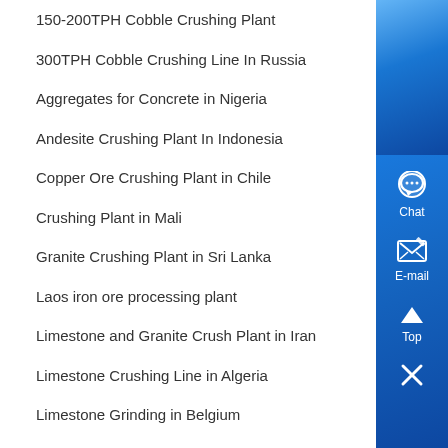150-200TPH Cobble Crushing Plant
300TPH Cobble Crushing Line In Russia
Aggregates for Concrete in Nigeria
Andesite Crushing Plant In Indonesia
Copper Ore Crushing Plant in Chile
Crushing Plant in Mali
Granite Crushing Plant in Sri Lanka
Laos iron ore processing plant
Limestone and Granite Crush Plant in Iran
Limestone Crushing Line in Algeria
Limestone Grinding in Belgium
Pebble and Basalt Production Line in Panama
Rod Mill Grinding Line in China